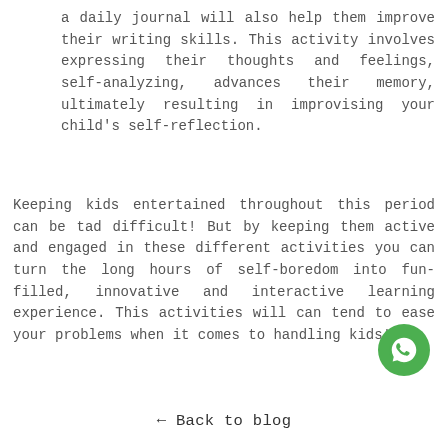a daily journal will also help them improve their writing skills. This activity involves expressing their thoughts and feelings, self-analyzing, advances their memory, ultimately resulting in improvising your child’s self-reflection.
Keeping kids entertained throughout this period can be tad difficult! But by keeping them active and engaged in these different activities you can turn the long hours of self-boredom into fun-filled, innovative and interactive learning experience. This activities will can tend to ease your problems when it comes to handling kids!
[Figure (logo): WhatsApp icon button — green circle with white WhatsApp logo]
← Back to blog